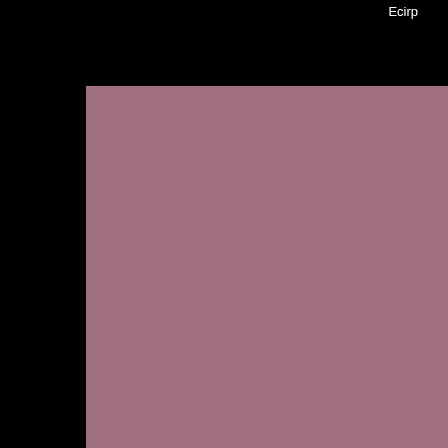Ecirp
[Figure (photo): Photo placeholder - large left image of a dog (smooth fox terrier)]
Ecirp
Number 1 Breeder
Number 1 Fox terrier in Australia and Number 1 bitch smooth fox terrier in Australia 2010
[Figure (photo): Photo placeholder - middle top image of a dog on a stack]
Roy on the stack
[Figure (photo): Photo placeholder - right top image, partially visible]
Roy the
[Figure (photo): Photo placeholder - bottom left image]
[Figure (photo): Photo placeholder - bottom middle image]
[Figure (photo): Photo placeholder - bottom right image, partially visible]